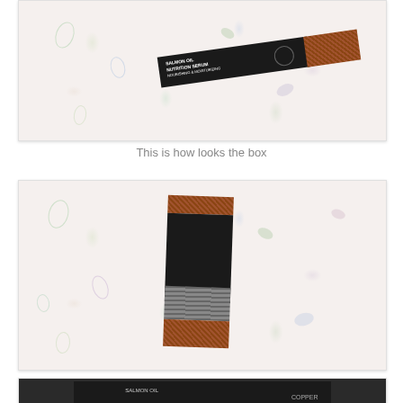[Figure (photo): Photo of a Salmon Oil Nutrition Serum product box lying horizontally on a floral patterned white background. The box is mostly black with copper/terracotta crosshatch pattern on one end.]
This is how looks the box
[Figure (photo): Photo of the same Salmon Oil Nutrition Serum product box standing vertically on a floral patterned white background. The box shows black body with copper crosshatch top and bottom, and a gray striped band in the lower middle section.]
[Figure (photo): Partial photo of the Salmon Oil Nutrition Serum product box showing the text/label side of the packaging on a dark background, partially cut off at bottom of page.]